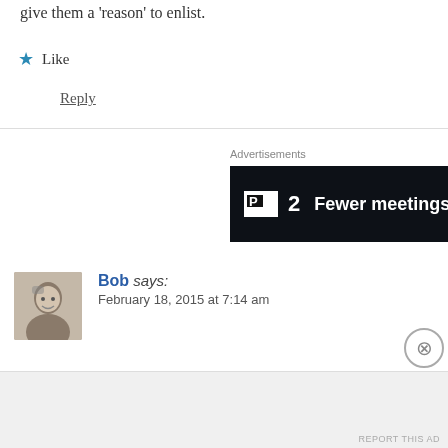give them a 'reason' to enlist.
★ Like
Reply
[Figure (other): Advertisement banner with dark background showing 'P2 Fewer meetings, more...' text]
Bob says:
February 18, 2015 at 7:14 am
Reblogged this on Episyllogism and commented:
Barbaric.
Advertisements